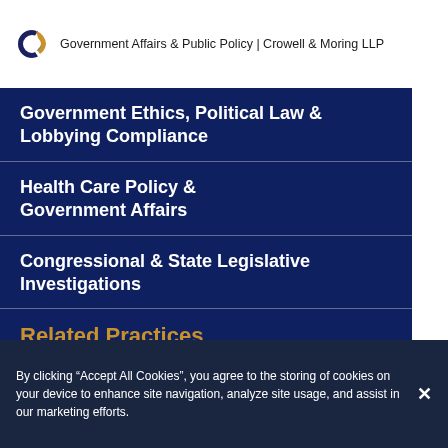Government Affairs & Public Policy | Crowell & Moring LLP
Government Ethics, Political Law & Lobbying Compliance
Health Care Policy & Government Affairs
Congressional & State Legislative Investigations
Related Practices
C&M International
By clicking “Accept All Cookies”, you agree to the storing of cookies on your device to enhance site navigation, analyze site usage, and assist in our marketing efforts.